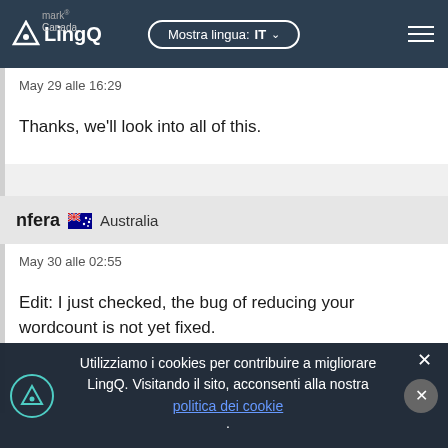LingQ — Mostra lingua: IT — Canada
May 29 alle 16:29
Thanks, we'll look into all of this.
nfera 🇦🇺 Australia
May 30 alle 02:55
Edit: I just checked, the bug of reducing your wordcount is not yet fixed.
Utilizziamo i cookies per contribuire a migliorare LingQ. Visitando il sito, acconsenti alla nostra politica dei cookie.